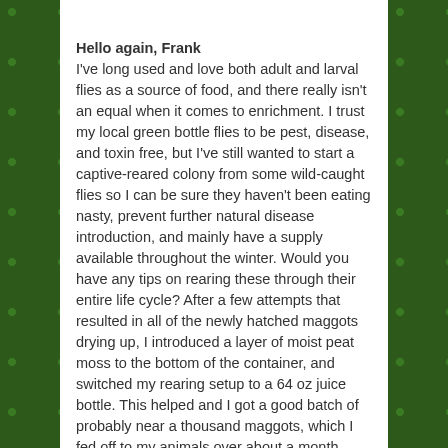Hello again, Frank
I've long used and love both adult and larval flies as a source of food, and there really isn't an equal when it comes to enrichment. I trust my local green bottle flies to be pest, disease, and toxin free, but I've still wanted to start a captive-reared colony from some wild-caught flies so I can be sure they haven't been eating nasty, prevent further natural disease introduction, and mainly have a supply available throughout the winter. Would you have any tips on rearing these through their entire life cycle? After a few attempts that resulted in all of the newly hatched maggots drying up, I introduced a layer of moist peat moss to the bottom of the container, and switched my rearing setup to a 64 oz juice bottle. This helped and I got a good batch of probably near a thousand maggots, which I fed off to my animals over about a month before they started to pupate (although the maggots appeared to be able to use some form of capillary action to escape through flush